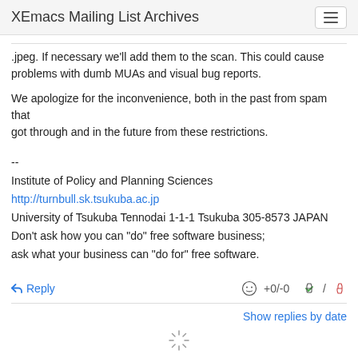XEmacs Mailing List Archives
.jpeg. If necessary we'll add them to the scan. This could cause problems with dumb MUAs and visual bug reports.
We apologize for the inconvenience, both in the past from spam that got through and in the future from these restrictions.
--
Institute of Policy and Planning Sciences
http://turnbull.sk.tsukuba.ac.jp
University of Tsukuba Tennodai 1-1-1 Tsukuba 305-8573 JAPAN
Don't ask how you can "do" free software business;
ask what your business can "do for" free software.
Reply  +0/-0
Show replies by date